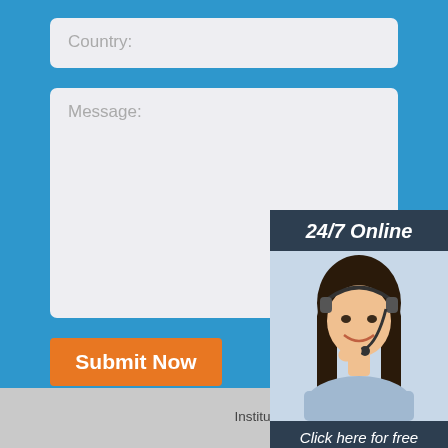Country:
Message:
Submit Now
[Figure (illustration): 24/7 Online chat widget with female customer service representative wearing headset, with 'Click here for free chat!' text and QUOTATION button]
Copyright © Copyright © Henan Coal Science Institute Keming Mechanical And Electrical Equipment Co., Ltd.
Sitemap | pneumatic pump dwg dealer | m m concrete pumping anufacture | withstand voltage hydraulic ptfe hose